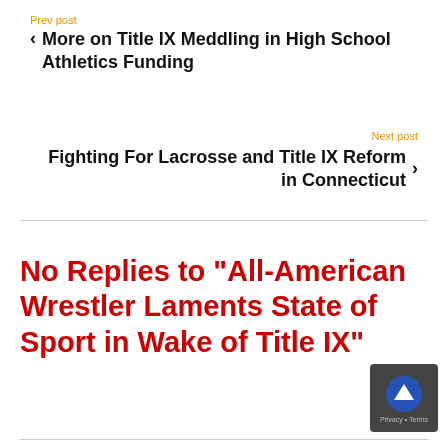Prev post
< More on Title IX Meddling in High School Athletics Funding
Next post
Fighting For Lacrosse and Title IX Reform in Connecticut >
No Replies to "All-American Wrestler Laments State of Sport in Wake of Title IX"